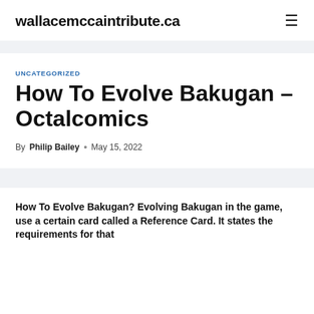wallacemccaintribute.ca
UNCATEGORIZED
How To Evolve Bakugan – Octalcomics
By Philip Bailey • May 15, 2022
How To Evolve Bakugan? Evolving Bakugan in the game, use a certain card called a Reference Card. It states the requirements for that…